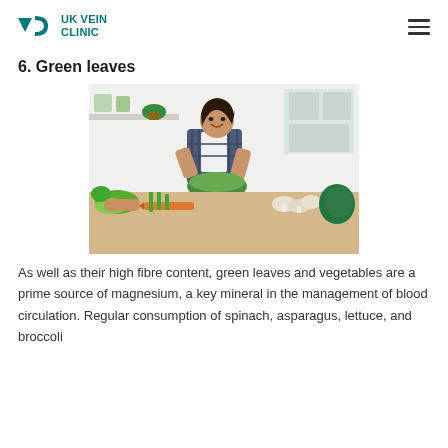UK VEIN CLINIC
6. Green leaves
[Figure (photo): A woman in a plaid shirt smiling and tossing a salad in a bright kitchen, with various vegetables including lettuce, carrots, green onions, mushrooms, and broccoli on the counter in front of her.]
As well as their high fibre content, green leaves and vegetables are a prime source of magnesium, a key mineral in the management of blood circulation. Regular consumption of spinach, asparagus, lettuce, and broccoli